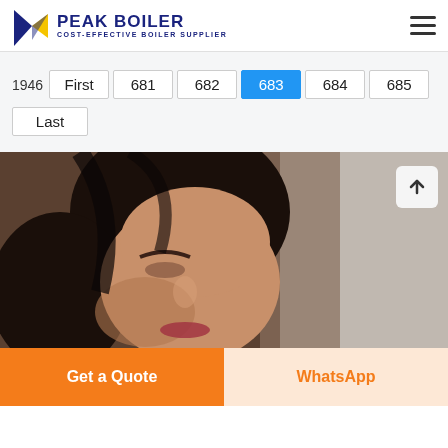PEAK BOILER COST-EFFECTIVE BOILER SUPPLIER
1946 First 681 682 683 684 685 Last
[Figure (photo): Close-up of a smiling woman with dark hair, blurred background]
Get a Quote
WhatsApp